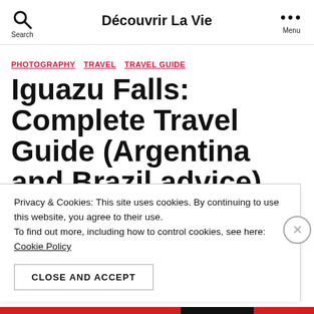Découvrir La Vie
PHOTOGRAPHY  TRAVEL  TRAVEL GUIDE
Iguazu Falls: Complete Travel Guide (Argentina and Brazil advice)
Privacy & Cookies: This site uses cookies. By continuing to use this website, you agree to their use.
To find out more, including how to control cookies, see here: Cookie Policy
CLOSE AND ACCEPT